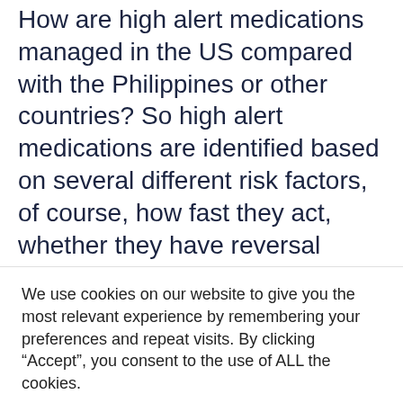How are high alert medications managed in the US compared with the Philippines or other countries? So high alert medications are identified based on several different risk factors, of course, how fast they act, whether they have reversal options, how dangerous they are in terms of the effect that they could have on a patient. That could be life ending, unfortunately. So one of those would be insulin, which is a very common medication, unfortunately, there are a lot of people who need insulin assistance, but some of those
We use cookies on our website to give you the most relevant experience by remembering your preferences and repeat visits. By clicking “Accept”, you consent to the use of ALL the cookies.